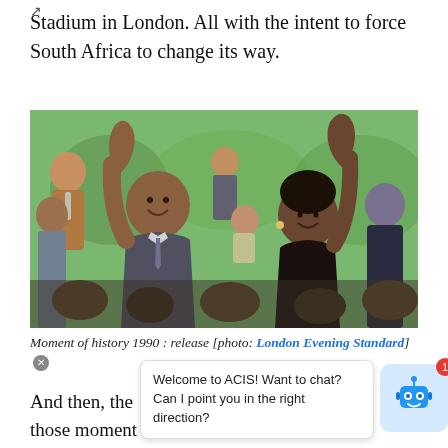↗
Stadium in London. All with the intent to force South Africa to change its way.
[Figure (photo): Nelson Mandela and Winnie Mandela walking together with fists raised in celebration, surrounded by a crowd, at the moment of his release in 1990.]
Moment of history 1990 : release [photo: London Evening Standard]
And then, the ... e c those moment ... re.